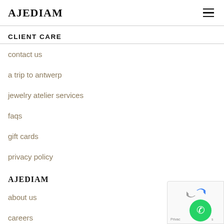AJEDIAM
CLIENT CARE
contact us
a trip to antwerp
jewelry atelier services
faqs
gift cards
privacy policy
AJEDIAM
about us
careers